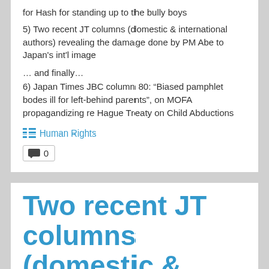for Hash for standing up to the bully boys
5) Two recent JT columns (domestic & international authors) revealing the damage done by PM Abe to Japan's int'l image
… and finally…
6) Japan Times JBC column 80: “Biased pamphlet bodes ill for left-behind parents”, on MOFA propagandizing re Hague Treaty on Child Abductions
Human Rights
0
Two recent JT columns (domestic & international authors) revealing the damage done by PM Abe to Japan's int'l image